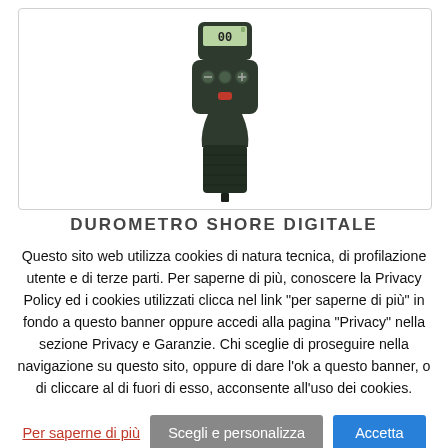[Figure (photo): Shore digital durometer/hardness tester device, dark colored handheld instrument with digital LCD display showing '00', buttons on body, and probe tip at bottom.]
DUROMETRO SHORE DIGITALE
Questo sito web utilizza cookies di natura tecnica, di profilazione utente e di terze parti. Per saperne di più, conoscere la Privacy Policy ed i cookies utilizzati clicca nel link "per saperne di più" in fondo a questo banner oppure accedi alla pagina "Privacy" nella sezione Privacy e Garanzie. Chi sceglie di proseguire nella navigazione su questo sito, oppure di dare l'ok a questo banner, o di cliccare al di fuori di esso, acconsente all'uso dei cookies.
Per saperne di più
Scegli e personalizza
Accetta